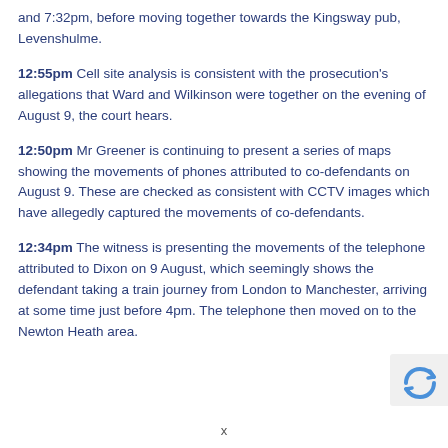and 7:32pm, before moving together towards the Kingsway pub, Levenshulme.
12:55pm Cell site analysis is consistent with the prosecution's allegations that Ward and Wilkinson were together on the evening of August 9, the court hears.
12:50pm Mr Greener is continuing to present a series of maps showing the movements of phones attributed to co-defendants on August 9. These are checked as consistent with CCTV images which have allegedly captured the movements of co-defendants.
12:34pm The witness is presenting the movements of the telephone attributed to Dixon on 9 August, which seemingly shows the defendant taking a train journey from London to Manchester, arriving at some time just before 4pm. The telephone then moved on to the Newton Heath area.
[Figure (logo): reCAPTCHA logo in bottom-right corner]
x